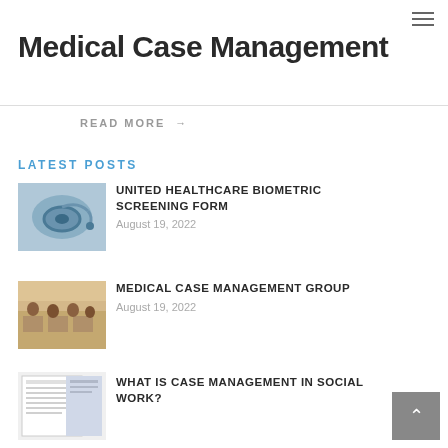Medical Case Management
READ MORE →
LATEST POSTS
[Figure (photo): Stethoscope on blue background]
UNITED HEALTHCARE BIOMETRIC SCREENING FORM
August 19, 2022
[Figure (photo): People seated at tables in a meeting room or conference]
MEDICAL CASE MANAGEMENT GROUP
August 19, 2022
[Figure (photo): Document or form page thumbnail]
WHAT IS CASE MANAGEMENT IN SOCIAL WORK?